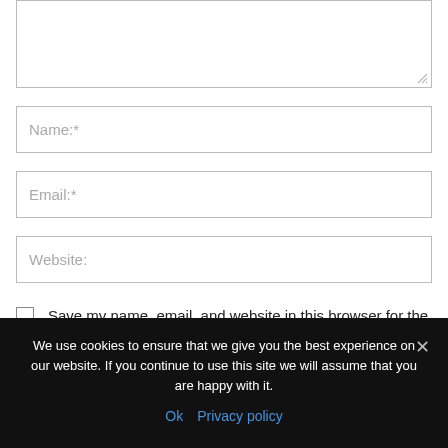[Figure (screenshot): Textarea input box (comment field) with resize handle at bottom-right corner]
Name:*
Email:*
Website:
Save my name, email, and website in this browser for the next time I comment.
We use cookies to ensure that we give you the best experience on our website. If you continue to use this site we will assume that you are happy with it.
Ok   Privacy policy